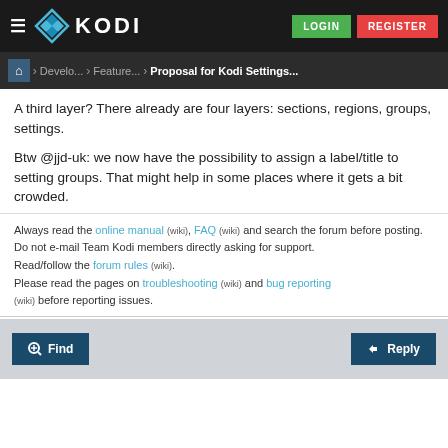KODI — LOGIN | REGISTER
Home > Develo... > Feature... > Proposal for Kodi Settings...
A third layer? There already are four layers: sections, regions, groups, settings.

Btw @jjd-uk: we now have the possibility to assign a label/title to setting groups. That might help in some places where it gets a bit crowded.
Always read the online manual (wiki), FAQ (wiki) and search the forum before posting.
Do not e-mail Team Kodi members directly asking for support.
Read/follow the forum rules (wiki).
Please read the pages on troubleshooting (wiki) and bug reporting (wiki) before reporting issues.
Find | Reply